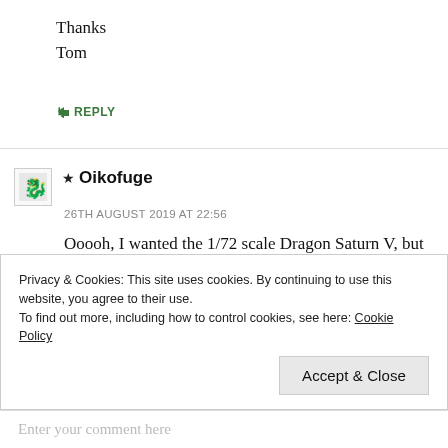Thanks
Tom
↳ REPLY
★ Oikofuge
26TH AUGUST 2019 AT 22:56
Ooooh, I wanted the 1/72 scale Dragon Saturn V, but didn't have a place to put it.
Glad my stuff is of some interest.
↳ REPLY
Privacy & Cookies: This site uses cookies. By continuing to use this website, you agree to their use.
To find out more, including how to control cookies, see here: Cookie Policy
Accept & Close
Enter your comment here